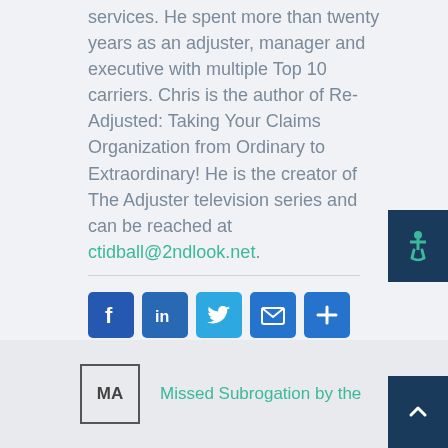services.  He spent more than twenty years as an adjuster, manager and executive with multiple Top 10 carriers.  Chris is the author of Re-Adjusted: Taking Your Claims Organization from Ordinary to Extraordinary!   He is the creator of The Adjuster television series and can be reached at ctidball@2ndlook.net.
[Figure (other): Social media sharing icons: Facebook, LinkedIn, Twitter, Email, Share (plus)]
[Figure (other): Accessibility icon button (wheelchair symbol) in dark navy background, positioned at right edge]
MA
Missed Subrogation by the
[Figure (other): Scroll to top button with upward chevron arrow in dark navy background, positioned at bottom right]